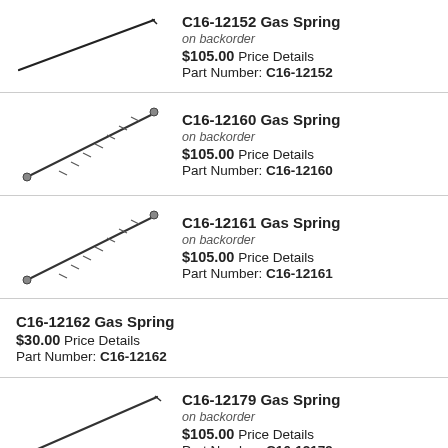[Figure (illustration): Gas spring product image - thin diagonal rod/spring C16-12152]
C16-12152 Gas Spring
on backorder
$105.00 Price Details
Part Number: C16-12152
[Figure (illustration): Gas spring product image - coiled diagonal spring C16-12160]
C16-12160 Gas Spring
on backorder
$105.00 Price Details
Part Number: C16-12160
[Figure (illustration): Gas spring product image - coiled diagonal spring C16-12161]
C16-12161 Gas Spring
on backorder
$105.00 Price Details
Part Number: C16-12161
C16-12162 Gas Spring
$30.00 Price Details
Part Number: C16-12162
[Figure (illustration): Gas spring product image - thin diagonal rod/spring C16-12179]
C16-12179 Gas Spring
on backorder
$105.00 Price Details
Part Number: C16-12179